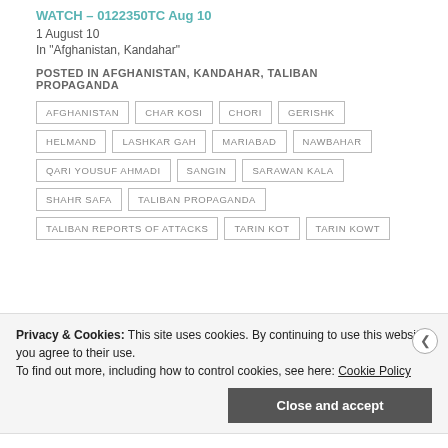WATCH – 0122350TC Aug 10
1 August 10
In "Afghanistan, Kandahar"
POSTED IN AFGHANISTAN, KANDAHAR, TALIBAN PROPAGANDA
AFGHANISTAN
CHAR KOSI
CHORI
GERISHK
HELMAND
LASHKAR GAH
MARIABAD
NAWBAHAR
QARI YOUSUF AHMADI
SANGIN
SARAWAN KALA
SHAHR SAFA
TALIBAN PROPAGANDA
TALIBAN REPORTS OF ATTACKS
TARIN KOT
TARIN KOWT
Privacy & Cookies: This site uses cookies. By continuing to use this website, you agree to their use. To find out more, including how to control cookies, see here: Cookie Policy
Close and accept